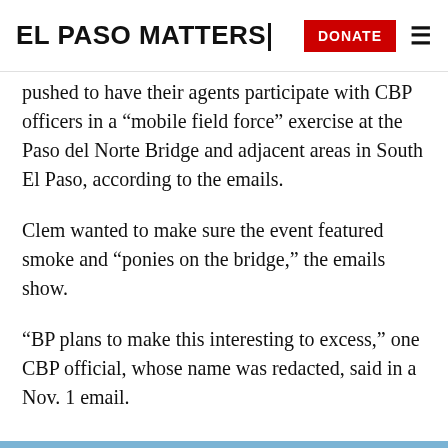EL PASO MATTERS
pushed to have their agents participate with CBP officers in a “mobile field force” exercise at the Paso del Norte Bridge and adjacent areas in South El Paso, according to the emails.
Clem wanted to make sure the event featured smoke and “ponies on the bridge,” the emails show.
“BP plans to make this interesting to excess,” one CBP official, whose name was redacted, said in a Nov. 1 email.